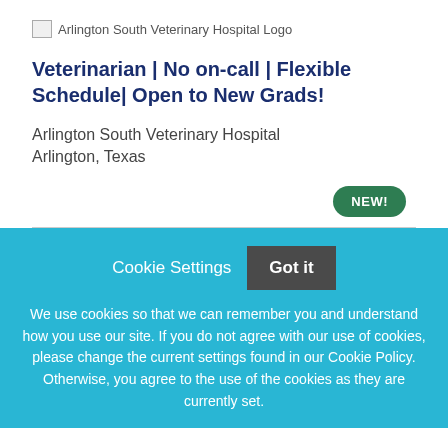[Figure (logo): Arlington South Veterinary Hospital Logo]
Veterinarian | No on-call | Flexible Schedule| Open to New Grads!
Arlington South Veterinary Hospital
Arlington, Texas
NEW!
Cookie Settings
Got it
We use cookies so that we can remember you and understand how you use our site. If you do not agree with our use of cookies, please change the current settings found in our Cookie Policy. Otherwise, you agree to the use of the cookies as they are currently set.